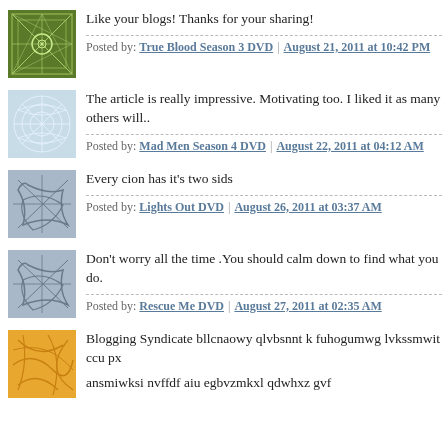Like your blogs! Thanks for your sharing!
Posted by: True Blood Season 3 DVD | August 21, 2011 at 10:42 PM
The article is really impressive. Motivating too. I liked it as many others will..
Posted by: Mad Men Season 4 DVD | August 22, 2011 at 04:12 AM
Every cion has it's two sids
Posted by: Lights Out DVD | August 26, 2011 at 03:37 AM
Don't worry all the time .You should calm down to find what you do.
Posted by: Rescue Me DVD | August 27, 2011 at 02:35 AM
Blogging Syndicate bllcnaowy qlvbsnnt k fuhogumwg lvkssmwit ccu px
ansmiwksi nvffdf aiu egbvzmkxl qdwhxz gvf